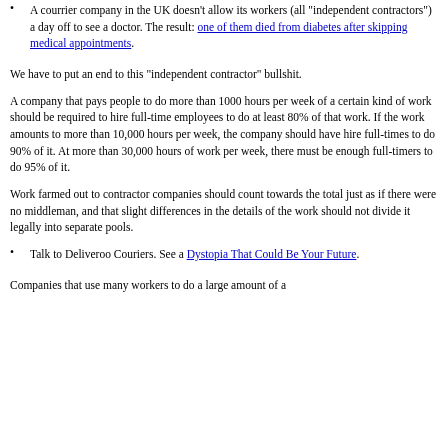A courrier company in the UK doesn't allow its workers (all "independent contractors") a day off to see a doctor. The result: one of them died from diabetes after skipping medical appointments.
We have to put an end to this "independent contractor" bullshit.
A company that pays people to do more than 1000 hours per week of a certain kind of work should be required to hire full-time employees to do at least 80% of that work. If the work amounts to more than 10,000 hours per week, the company should have hire full-times to do 90% of it. At more than 30,000 hours of work per week, there must be enough full-timers to do 95% of it.
Work farmed out to contractor companies should count towards the total just as if there were no middleman, and that slight differences in the details of the work should not divide it legally into separate pools.
Talk to Deliveroo Couriers. See a Dystopia That Could Be Your Future.
Companies that use many workers to do a large amount of a